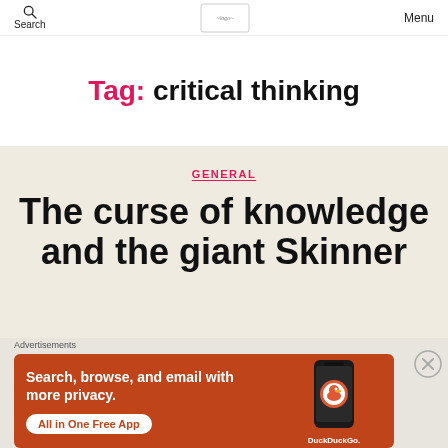Search | [logo image] | Menu
Tag: critical thinking
GENERAL
The curse of knowledge and the giant Skinner
Advertisements
[Figure (infographic): DuckDuckGo advertisement banner with orange background showing 'Search, browse, and email with more privacy. All in One Free App' with a phone mockup and DuckDuckGo logo]